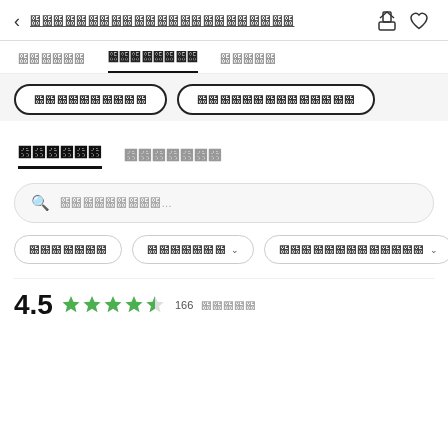< [Thai navigation title] [share icon] [heart icon]
[Tab 1] [Tab 2 - active/underlined] [Tab 3]
[Pill button 1] [Pill button 2]
[Tab: Reviews - active] [Tab: Q&A]
Search placeholder: [Thai text]...
[Filter 1] [Filter 2 with dropdown] [Filter 3 with dropdown]
4.5 [4.5 stars] 166 [Thai: reviews]